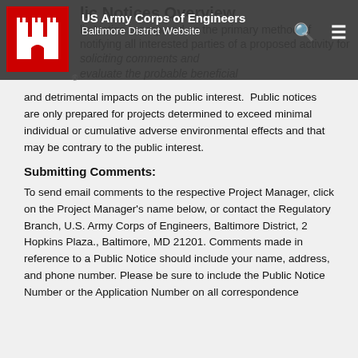US Army Corps of Engineers Baltimore District Website
and detrimental impacts on the public interest. Public notices are only prepared for projects determined to exceed minimal individual or cumulative adverse environmental effects and that may be contrary to the public interest.
Submitting Comments:
To send email comments to the respective Project Manager, click on the Project Manager's name below, or contact the Regulatory Branch, U.S. Army Corps of Engineers, Baltimore District, 2 Hopkins Plaza., Baltimore, MD 21201. Comments made in reference to a Public Notice should include your name, address, and phone number. Please be sure to include the Public Notice Number or the Application Number on all correspondence to the District.